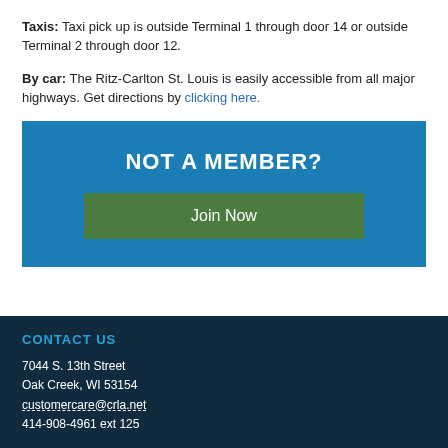Taxis: Taxi pick up is outside Terminal 1 through door 14 or outside Terminal 2 through door 12.
By car: The Ritz-Carlton St. Louis is easily accessible from all major highways. Get directions by clicking here.
[Figure (infographic): Blue banner with white bold uppercase text 'NOT A MEMBER?' and a green 'Join Now' button below]
CONTACT US
7044 S. 13th Street
Oak Creek, WI 53154
customercare@crla.net
414-908-4961 ext 125